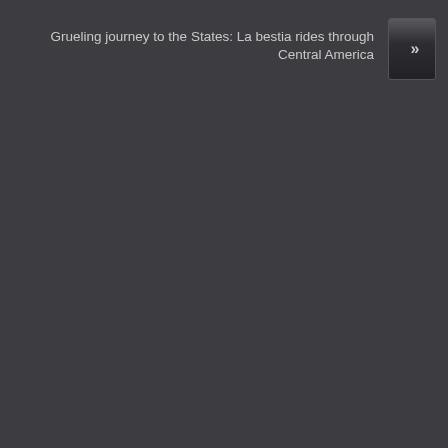Grueling journey to the States: La bestia rides through Central America